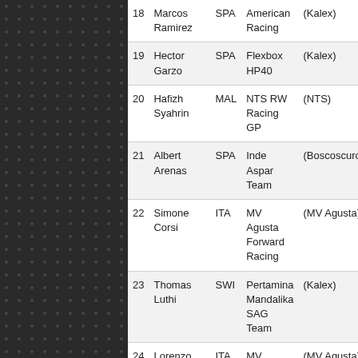| # | Name | Nat | Team | Bike | Time |
| --- | --- | --- | --- | --- | --- |
| 18 | Marcos Ramirez | SPA | American Racing | (Kalex) | 1m 44.498s |
| 19 | Hector Garzo | SPA | Flexbox HP40 | (Kalex) | 1m 43.926s |
| 20 | Hafizh Syahrin | MAL | NTS RW Racing GP | (NTS) | 1m 43.934s |
| 21 | Albert Arenas | SPA | Inde Aspar Team | (Boscoscuro) | 1m 44.055s |
| 22 | Simone Corsi | ITA | MV Agusta Forward Racing | (MV Agusta) | 1m 44.076s |
| 23 | Thomas Luthi | SWI | Pertamina Mandalika SAG Team | (Kalex) | 1m 44.098s |
| 24 | Lorenzo Baldassarri | ITA | MV Agusta Forward Racing | (MV Agusta) | 1m 44.321s |